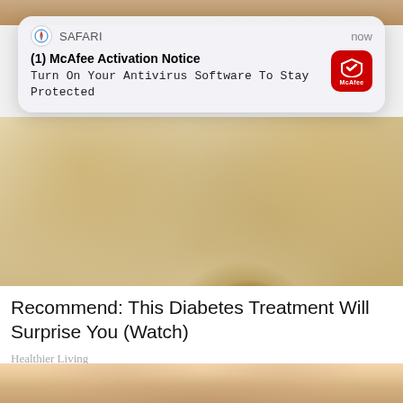[Figure (photo): Close-up photo of skin/foot with flaking or lesion, partially visible at top edge of page]
[Figure (screenshot): Safari browser push notification overlay: '(1) McAfee Activation Notice' / 'Turn On Your Antivirus Software To Stay Protected', with McAfee red icon]
[Figure (photo): Close-up photo of skin condition showing textured, discolored skin with a darker lesion or crack area]
Recommend: This Diabetes Treatment Will Surprise You (Watch)
Healthier Living
[Figure (photo): Close-up photo of a person's face (forehead/nose area), partially visible at bottom of page]